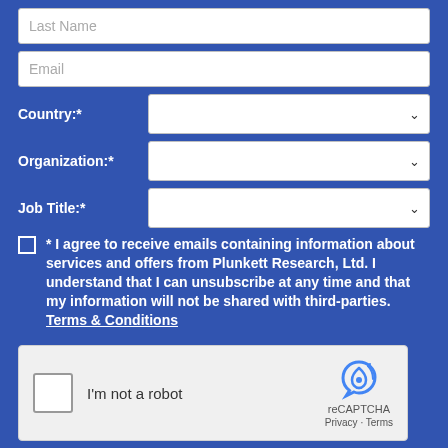Last Name
Email
Country:*
Organization:*
Job Title:*
* I agree to receive emails containing information about services and offers from Plunkett Research, Ltd. I understand that I can unsubscribe at any time and that my information will not be shared with third-parties. Terms & Conditions
[Figure (other): reCAPTCHA widget with checkbox labeled I'm not a robot, reCAPTCHA logo, Privacy and Terms links]